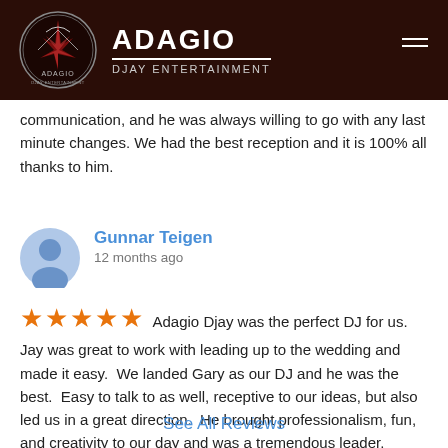[Figure (logo): Adagio Djay Entertainment logo with circular emblem and brand name in dark brown header bar]
communication, and he was always willing to go with any last minute changes. We had the best reception and it is 100% all thanks to him.
Gunnar Teigen
12 months ago
Adagio Djay was the perfect DJ for us. Jay was great to work with leading up to the wedding and made it easy. We landed Gary as our DJ and he was the best. Easy to talk to as well, receptive to our ideas, but also led us in a great direction. He brought professionalism, fun, and creativity to our day and was a tremendous leader. Folks absolutely need to consider Adagio for their DJ services and if they get Gary they will be in GREAT hands!
See All Reviews